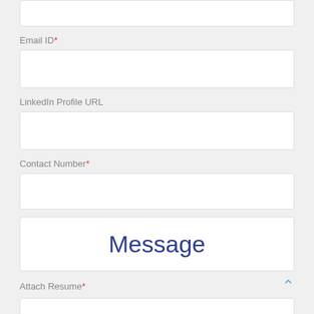Email ID*
LinkedIn Profile URL
Contact Number*
Message
Attach Resume*